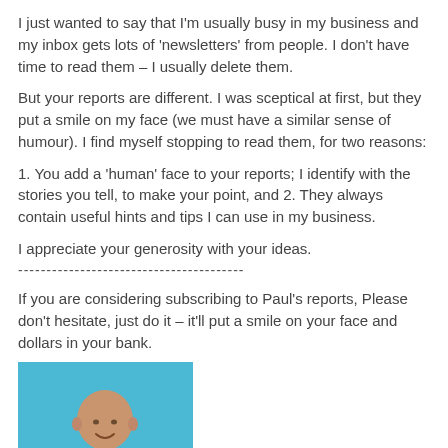I just wanted to say that I'm usually busy in my business and my inbox gets lots of 'newsletters' from people. I don't have time to read them – I usually delete them.
But your reports are different. I was sceptical at first, but they put a smile on my face (we must have a similar sense of humour). I find myself stopping to read them, for two reasons:
1. You add a 'human' face to your reports; I identify with the stories you tell, to make your point, and 2. They always contain useful hints and tips I can use in my business.
I appreciate your generosity with your ideas.
----------------------------------------
If you are considering subscribing to Paul's reports, Please don't hesitate, just do it – it'll put a smile on your face and dollars in your bank.
[Figure (photo): Portrait photo of a bald elderly man smiling, wearing a blue shirt, against a light blue background.]